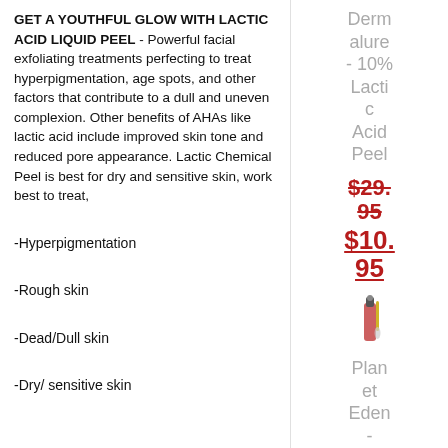GET A YOUTHFUL GLOW WITH LACTIC ACID LIQUID PEEL - Powerful facial exfoliating treatments perfecting to treat hyperpigmentation, age spots, and other factors that contribute to a dull and uneven complexion. Other benefits of AHAs like lactic acid include improved skin tone and reduced pore appearance. Lactic Chemical Peel is best for dry and sensitive skin, work best to treat,
-Hyperpigmentation
-Rough skin
-Dead/Dull skin
-Dry/ sensitive skin
Dermalure - 10% Lactic Acid Peel
$29.95
$10.95
[Figure (photo): Small product thumbnail image of a skincare bottle/peel product]
Planet Eden -